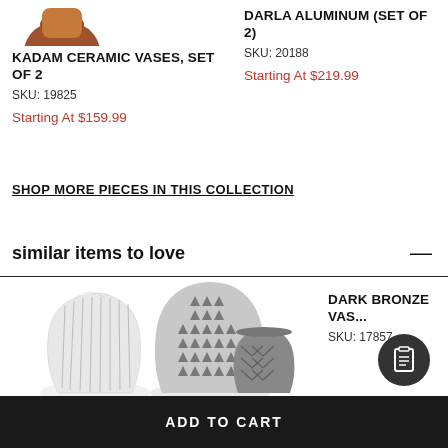[Figure (photo): Partial view of a brown ceramic vase (Kadam) at top left]
KADAM CERAMIC VASES, SET OF 2
SKU: 19825
Starting At $159.99
DARLA ALUMINUM (SET OF 2)
SKU: 20188
Starting At $219.99
SHOP MORE PIECES IN THIS COLLECTION
similar items to love
[Figure (photo): Three decorative ceramic vases: white ribbed, grey patterned with triangles, and dark grey with chevron pattern]
DARK BRONZE VAS...
SKU: 17857
ADD TO CART